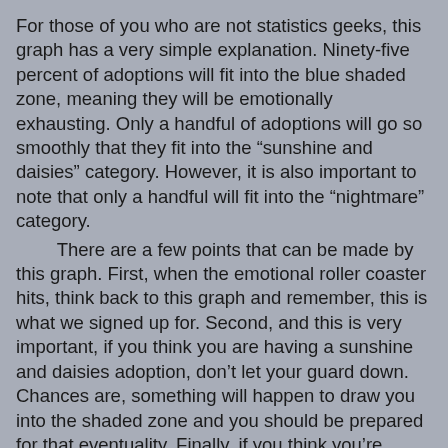For those of you who are not statistics geeks, this graph has a very simple explanation. Ninety-five percent of adoptions will fit into the blue shaded zone, meaning they will be emotionally exhausting. Only a handful of adoptions will go so smoothly that they fit into the “sunshine and daisies” category. However, it is also important to note that only a handful will fit into the “nightmare” category.
	There are a few points that can be made by this graph. First, when the emotional roller coaster hits, think back to this graph and remember, this is what we signed up for. Second, and this is very important, if you think you are having a sunshine and daisies adoption, don’t let your guard down. Chances are, something will happen to draw you into the shaded zone and you should be prepared for that eventuality. Finally, if you think you’re having a nightmare adoption process, chances are you’re not and you might benefit from talking to others in the adoption community at various stages of the process. These conversations will probably help you understand that your experience is “normal.”